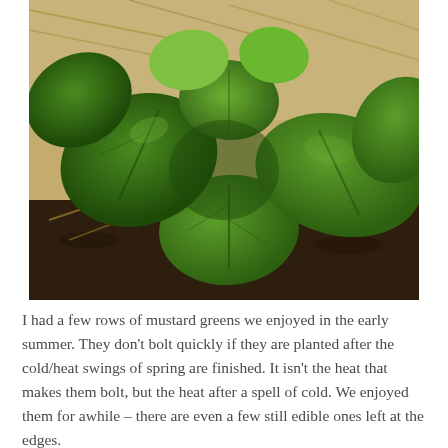[Figure (photo): A cluster of mustard green plants growing in a garden bed with straw mulch and dark soil in the background. The plants have large, rounded, dark green leaves spread outward.]
I had a few rows of mustard greens we enjoyed in the early summer. They don't bolt quickly if they are planted after the cold/heat swings of spring are finished. It isn't the heat that makes them bolt, but the heat after a spell of cold. We enjoyed them for awhile – there are even a few still edible ones left at the edges.